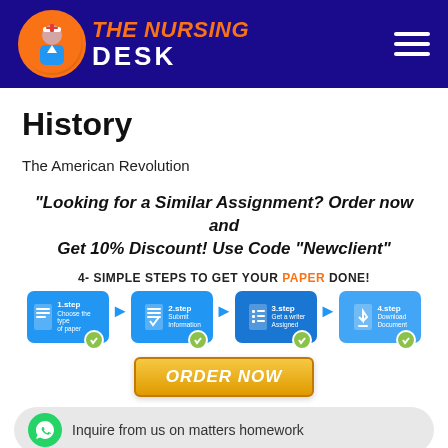[Figure (logo): The Nursing Desk logo with nurse icon in orange circle and blue background header with hamburger menu]
History
The American Revolution
"Looking for a Similar Assignment? Order now and Get 10% Discount! Use Code "Newclient"
[Figure (infographic): 4 simple steps to get your paper done: 1.step Choose the type of paper, 2.step Submit Information, 3.step Get a writer Assigned, 4.step Download Document. Arrow flow between steps with checkmarks.]
[Figure (other): ORDER NOW button in gold/yellow color]
Inquire from us on matters homework